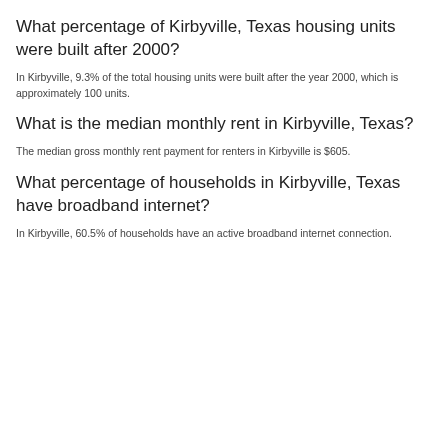What percentage of Kirbyville, Texas housing units were built after 2000?
In Kirbyville, 9.3% of the total housing units were built after the year 2000, which is approximately 100 units.
What is the median monthly rent in Kirbyville, Texas?
The median gross monthly rent payment for renters in Kirbyville is $605.
What percentage of households in Kirbyville, Texas have broadband internet?
In Kirbyville, 60.5% of households have an active broadband internet connection.